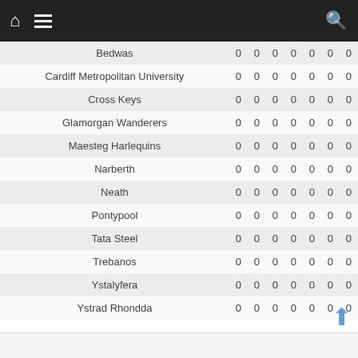Home | Menu | Search
| Team |  |  |  |  |  |  |  |
| --- | --- | --- | --- | --- | --- | --- | --- |
| Bedwas | 0 | 0 | 0 | 0 | 0 | 0 | 0 |
| Cardiff Metropolitan University | 0 | 0 | 0 | 0 | 0 | 0 | 0 |
| Cross Keys | 0 | 0 | 0 | 0 | 0 | 0 | 0 |
| Glamorgan Wanderers | 0 | 0 | 0 | 0 | 0 | 0 | 0 |
| Maesteg Harlequins | 0 | 0 | 0 | 0 | 0 | 0 | 0 |
| Narberth | 0 | 0 | 0 | 0 | 0 | 0 | 0 |
| Neath | 0 | 0 | 0 | 0 | 0 | 0 | 0 |
| Pontypool | 0 | 0 | 0 | 0 | 0 | 0 | 0 |
| Tata Steel | 0 | 0 | 0 | 0 | 0 | 0 | 0 |
| Trebanos | 0 | 0 | 0 | 0 | 0 | 0 | 0 |
| Ystalyfera | 0 | 0 | 0 | 0 | 0 | 0 | 0 |
| Ystrad Rhondda | 0 | 0 | 0 | 0 | 0 | 0 | 0 |